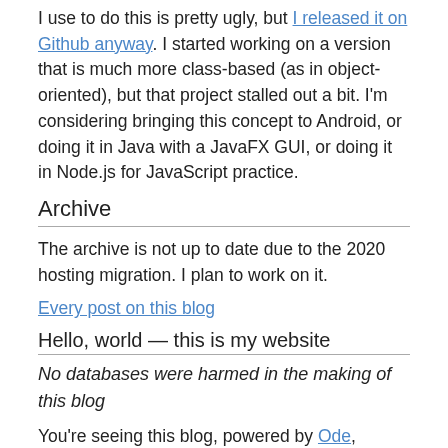I use to do this is pretty ugly, but I released it on Github anyway. I started working on a version that is much more class-based (as in object-oriented), but that project stalled out a bit. I'm considering bringing this concept to Android, or doing it in Java with a JavaFX GUI, or doing it in Node.js for JavaScript practice.
Archive
The archive is not up to date due to the 2020 hosting migration. I plan to work on it.
Every post on this blog
Hello, world — this is my website
No databases were harmed in the making of this blog
You're seeing this blog, powered by Ode, through the magic of the Perl programming language and the Common Gateway Interface. Also